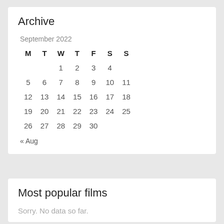Archive
| M | T | W | T | F | S | S |
| --- | --- | --- | --- | --- | --- | --- |
|  |  | 1 | 2 | 3 | 4 |  |
| 5 | 6 | 7 | 8 | 9 | 10 | 11 |
| 12 | 13 | 14 | 15 | 16 | 17 | 18 |
| 19 | 20 | 21 | 22 | 23 | 24 | 25 |
| 26 | 27 | 28 | 29 | 30 |  |  |
« Aug
Most popular films
Sorry. No data so far.